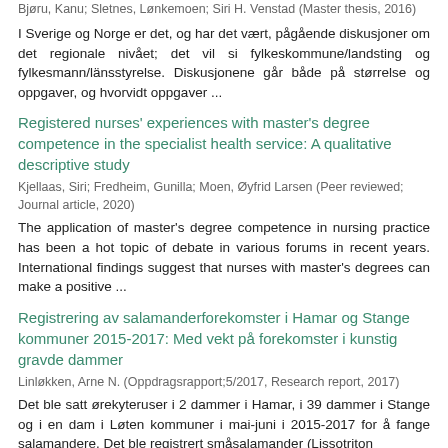Bjøru, Kanu; Sletnes, Lønkemoen; Siri H. Venstad (Master thesis, 2016)
I Sverige og Norge er det, og har det vært, pågående diskusjoner om det regionale nivået; det vil si fylkeskommune/landsting og fylkesmann/länsstyrelse. Diskusjonene går både på størrelse og oppgaver, og hvorvidt oppgaver ...
Registered nurses' experiences with master's degree competence in the specialist health service: A qualitative descriptive study
Kjellaas, Siri; Fredheim, Gunilla; Moen, Øyfrid Larsen (Peer reviewed; Journal article, 2020)
The application of master's degree competence in nursing practice has been a hot topic of debate in various forums in recent years. International findings suggest that nurses with master's degrees can make a positive ...
Registrering av salamanderforekomster i Hamar og Stange kommuner 2015-2017: Med vekt på forekomster i kunstig gravde dammer
Linløkken, Arne N. (Oppdragsrapport;5/2017, Research report, 2017)
Det ble satt ørekyteruser i 2 dammer i Hamar, i 39 dammer i Stange og i en dam i Løten kommuner i mai-juni i 2015-2017 for å fange salamandere. Det ble registrert småsalamander (Lissotriton